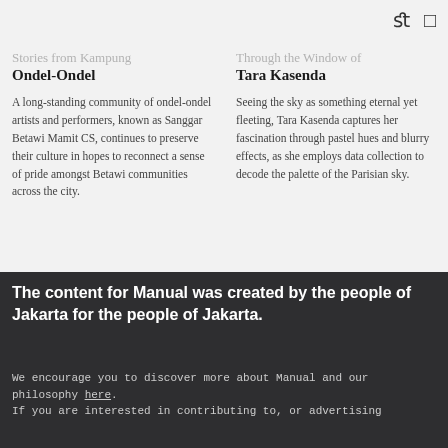fl  □
Ondel-Ondel
A long-standing community of ondel-ondel artists and performers, known as Sanggar Betawi Mamit CS, continues to preserve their culture in hopes to reconnect a sense of pride amongst Betawi communities across the city.
Tara Kasenda
Seeing the sky as something eternal yet fleeting, Tara Kasenda captures her fascination through pastel hues and blurry effects, as she employs data collection to decode the palette of the Parisian sky.
The content for Manual was created by the people of Jakarta for the people of Jakarta.
We encourage you to discover more about Manual and our philosophy here. If you are interested in contributing to, or advertising